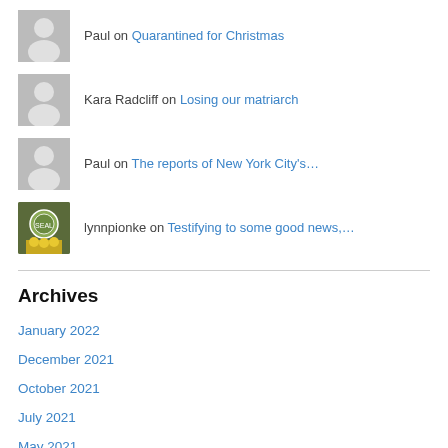Paul on Quarantined for Christmas
Kara Radcliff on Losing our matriarch
Paul on The reports of New York City's…
lynnpionke on Testifying to some good news,…
Archives
January 2022
December 2021
October 2021
July 2021
May 2021
March 2021